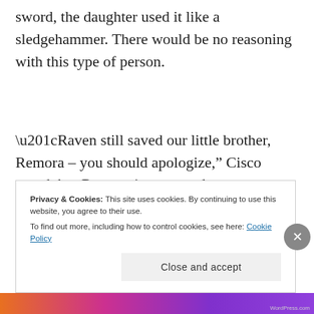sword, the daughter used it like a sledgehammer. There would be no reasoning with this type of person.
“Raven still saved our little brother, Remora – you should apologize,” Cisco urged, but Remora just snorted.
Privacy & Cookies: This site uses cookies. By continuing to use this website, you agree to their use.
To find out more, including how to control cookies, see here: Cookie Policy
[Close and accept]
WordPress.com